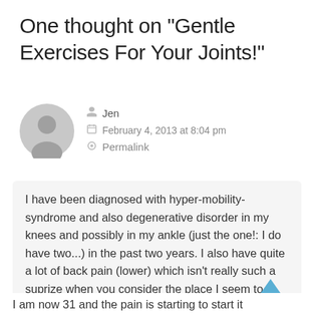One thought on “Gentle Exercises For Your Joints!”
Jen
February 4, 2013 at 8:04 pm
Permalink
I have been diagnosed with hyper-mobility-syndrome and also degenerative disorder in my knees and possibly in my ankle (just the one!: I do have two...) in the past two years. I also have quite a lot of back pain (lower) which isn’t really such a suprize when you consider the place I seem to most be hyper-mobile in, is my back.
I am now 31 and the pain is starting to start it